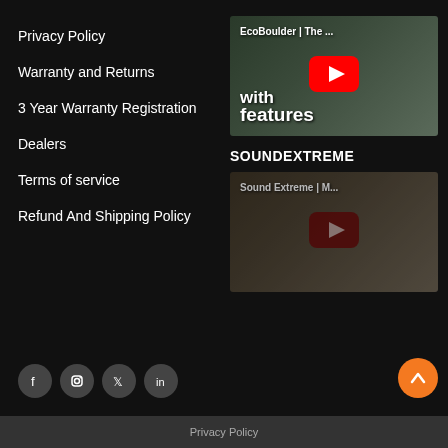Privacy Policy
Warranty and Returns
3 Year Warranty Registration
Dealers
Terms of service
Refund And Shipping Policy
[Figure (screenshot): YouTube video thumbnail showing 'EcoBoulder | The ...' with text 'with features' and a red YouTube play button]
SOUNDEXTREME
[Figure (screenshot): YouTube video thumbnail showing 'Sound Extreme | M...' with a dark red YouTube play button]
[Figure (infographic): Social media icons: Facebook, Instagram, Twitter, LinkedIn in dark circular buttons]
[Figure (illustration): Orange circular scroll-to-top button with upward chevron arrow]
Privacy Policy